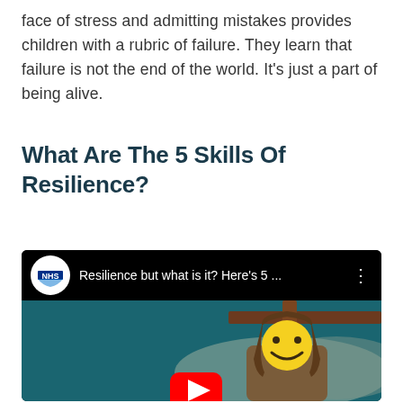face of stress and admitting mistakes provides children with a rubric of failure. They learn that failure is not the end of the world. It's just a part of being alive.
What Are The 5 Skills Of Resilience?
[Figure (screenshot): Embedded YouTube video player showing an NHS video titled 'Resilience but what is it? Here's 5 ...' with a cartoon animation thumbnail showing a smiling yellow face character, dark teal background, and a YouTube play button overlay.]